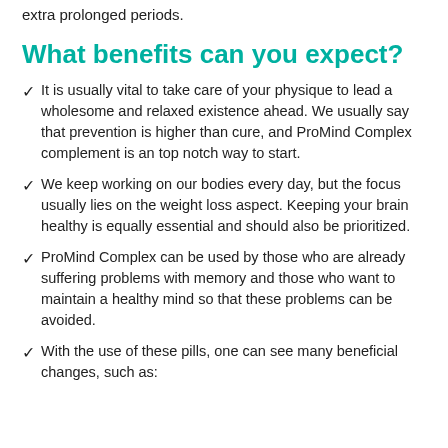extra prolonged periods.
What benefits can you expect?
It is usually vital to take care of your physique to lead a wholesome and relaxed existence ahead. We usually say that prevention is higher than cure, and ProMind Complex complement is an top notch way to start.
We keep working on our bodies every day, but the focus usually lies on the weight loss aspect. Keeping your brain healthy is equally essential and should also be prioritized.
ProMind Complex can be used by those who are already suffering problems with memory and those who want to maintain a healthy mind so that these problems can be avoided.
With the use of these pills, one can see many beneficial changes, such as: